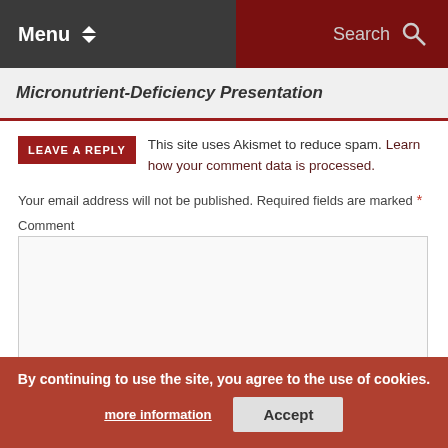Menu | Search
Micronutrient-Deficiency Presentation
LEAVE A REPLY
This site uses Akismet to reduce spam. Learn how your comment data is processed.
Your email address will not be published. Required fields are marked *
Comment
Name *
Email *
Website
By continuing to use the site, you agree to the use of cookies. more information  Accept